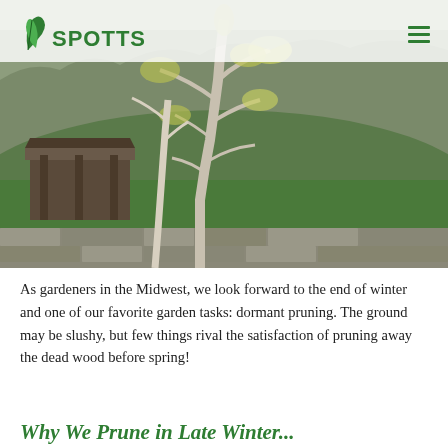SPOTTS
[Figure (photo): Outdoor landscape photo showing bare winter trees with yellowish-green buds, a log cabin structure on the left, a green lawn, and a stone wall in the foreground.]
As gardeners in the Midwest, we look forward to the end of winter and one of our favorite garden tasks: dormant pruning. The ground may be slushy, but few things rival the satisfaction of pruning away the dead wood before spring!
Why We Prune in Late Winter...